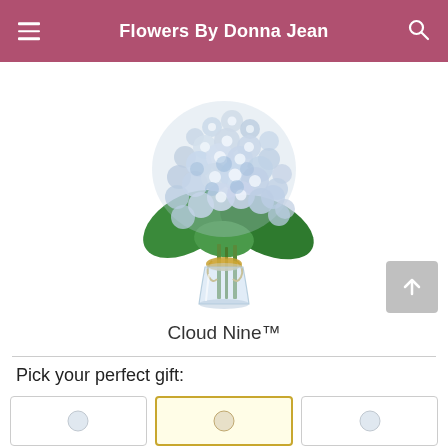Flowers By Donna Jean
[Figure (photo): A bouquet of blue and white hydrangea flowers in a clear glass vase tied with a raffia ribbon, displayed on a white background.]
Cloud Nine™
Pick your perfect gift: